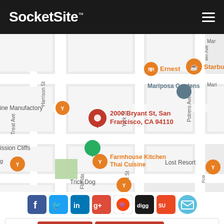SocketSite™
[Figure (map): Google Maps view of 2000 Bryant St, San Francisco, CA 94110 with surrounding streets (Harrison St, York St, Potrero Ave, Florida St, Treat Ave) and nearby points of interest: Ernest, Starbucks, Mariposa Gardens, Wine Manufactory, Mission Cliffs, Farmhouse Kitchen Thai Cuisine, Lost Resort, Trick Dog]
[Figure (infographic): Row of social sharing icons: Facebook, Twitter, LinkedIn, Google+, Reddit, Digg, StumbleUpon, Email]
Related: 2000 Bryant Street | 2000-2070 Bryant Street | 2070 Bryant Street | BDE Architecture | Roost on Bryant